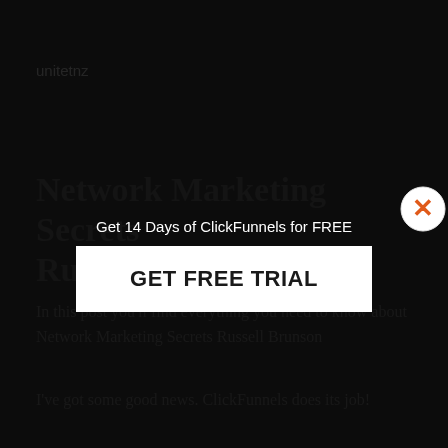unitetnz
Network Marketing Secrets Russell Brunson
In this post you'll find everything you need to know about Network Marketing Secrets Russell Brunson
I've got some good news. ClickFunnels does its job!
ClickFunnels is intended to save you time and
[Figure (screenshot): Modal popup overlay with text 'Get 14 Days of ClickFunnels for FREE' and a white button 'GET FREE TRIAL', with an orange X close button in top right corner]